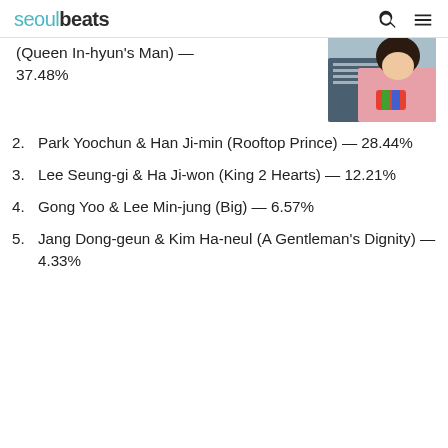seoulbeats
(Queen In-hyun's Man) — 37.48%
[Figure (photo): Photo of two people, one in a striped shirt, outdoors]
2. Park Yoochun & Han Ji-min (Rooftop Prince) — 28.44%
3. Lee Seung-gi & Ha Ji-won (King 2 Hearts) — 12.21%
4. Gong Yoo & Lee Min-jung (Big) — 6.57%
5. Jang Dong-geun & Kim Ha-neul (A Gentleman's Dignity) — 4.33%